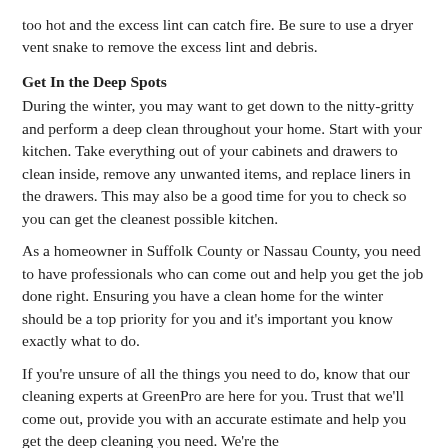too hot and the excess lint can catch fire. Be sure to use a dryer vent snake to remove the excess lint and debris.
Get In the Deep Spots
During the winter, you may want to get down to the nitty-gritty and perform a deep clean throughout your home. Start with your kitchen. Take everything out of your cabinets and drawers to clean inside, remove any unwanted items, and replace liners in the drawers. This may also be a good time for you to check so you can get the cleanest possible kitchen.
As a homeowner in Suffolk County or Nassau County, you need to have professionals who can come out and help you get the job done right. Ensuring you have a clean home for the winter should be a top priority for you and it's important you know exactly what to do.
If you're unsure of all the things you need to do, know that our cleaning experts at GreenPro are here for you. Trust that we'll come out, provide you with an accurate estimate and help you get the deep cleaning you need. We're the